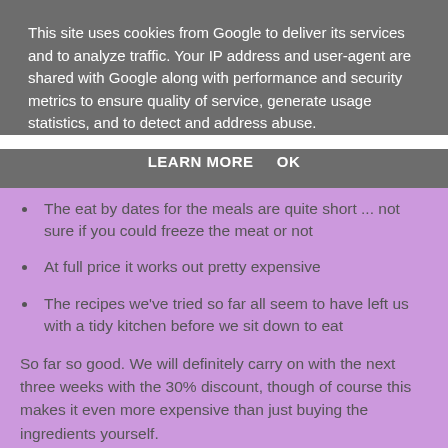This site uses cookies from Google to deliver its services and to analyze traffic. Your IP address and user-agent are shared with Google along with performance and security metrics to ensure quality of service, generate usage statistics, and to detect and address abuse.
LEARN MORE    OK
The eat by dates for the meals are quite short ... not sure if you could freeze the meat or not
At full price it works out pretty expensive
The recipes we've tried so far all seem to have left us with a tidy kitchen before we sit down to eat
So far so good. We will definitely carry on with the next three weeks with the 30% discount, though of course this makes it even more expensive than just buying the ingredients yourself.